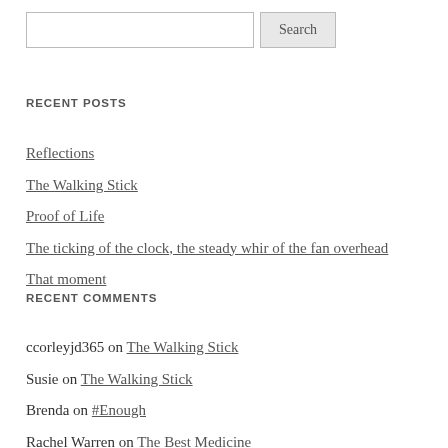RECENT POSTS
Reflections
The Walking Stick
Proof of Life
The ticking of the clock, the steady whir of the fan overhead
That moment
RECENT COMMENTS
ccorleyjd365 on The Walking Stick
Susie on The Walking Stick
Brenda on #Enough
Rachel Warren on The Best Medicine